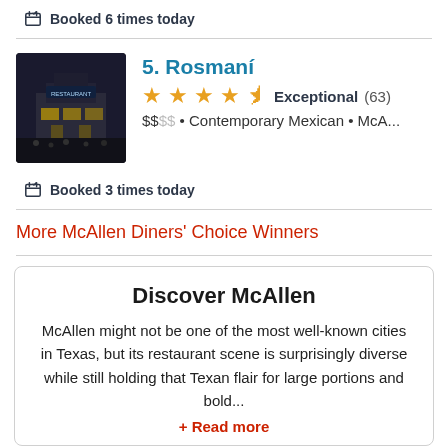Booked 6 times today
[Figure (photo): Restaurant exterior at night with lights]
5. Rosmaní
★★★★½ Exceptional (63)
$$•• • Contemporary Mexican • McA...
Booked 3 times today
More McAllen Diners' Choice Winners
Discover McAllen
McAllen might not be one of the most well-known cities in Texas, but its restaurant scene is surprisingly diverse while still holding that Texan flair for large portions and bold...
+ Read more